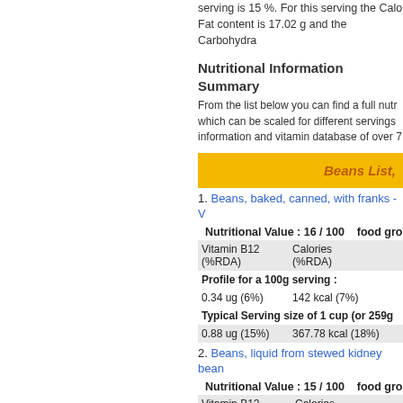serving is 15 %. For this serving the Calorie Fat content is 17.02 g and the Carbohydra
Nutritional Information Summary
From the list below you can find a full nutr which can be scaled for different servings information and vitamin database of over 7
Beans List,
1. Beans, baked, canned, with franks - V
| Vitamin B12 (%RDA) | Calories (%RDA) |
| --- | --- |
| Profile for a 100g serving : |  |
| 0.34 ug (6%) | 142 kcal (7%) |
| Typical Serving size of 1 cup (or 259g |  |
| 0.88 ug (15%) | 367.78 kcal (18%) |
2. Beans, liquid from stewed kidney bean
| Vitamin B12 | Calories |
| --- | --- |
| Profile for a 100g serving : |  |
| 0.02 ug (0%) | 47 kcal (2%) |
| Typical Serving size of 1 cup (or 240g |  |
| 0.05 ug (1%) | 112.8 kcal (6%) |
3. Beans, chili, barbecue, ranch style,